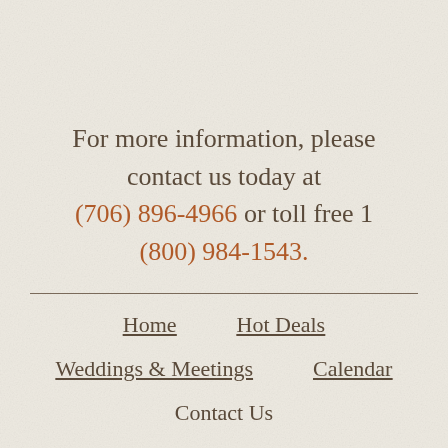For more information, please contact us today at (706) 896-4966 or toll free 1 (800) 984-1543.
Home
Hot Deals
Weddings & Meetings
Calendar
Contact Us